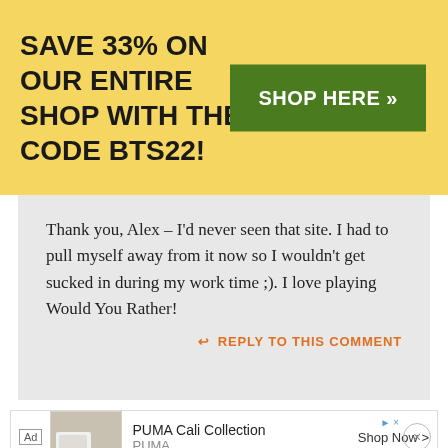SAVE 33% ON OUR ENTIRE SHOP WITH THE CODE BTS22!
SHOP HERE »
Thank you, Alex – I'd never seen that site. I had to pull myself away from it now so I wouldn't get sucked in during my work time ;). I love playing Would You Rather!
↩ REPLY TO THIS COMMENT
Ad  PUMA Cali Collection  PUMA  Shop Now >